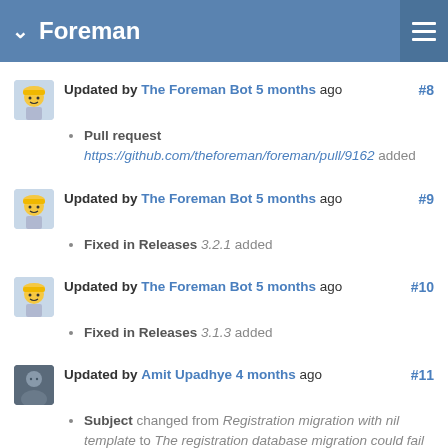Foreman
Updated by The Foreman Bot 5 months ago #8 - Pull request https://github.com/theforeman/foreman/pull/9162 added
Updated by The Foreman Bot 5 months ago #9 - Fixed in Releases 3.2.1 added
Updated by The Foreman Bot 5 months ago #10 - Fixed in Releases 3.1.3 added
Updated by Amit Upadhye 4 months ago #11 - Subject changed from Registration migration with nil template to The registration database migration could fail when template is not available
Updated by Amit Upadhye 3 months ago #12 - Subject changed from The registration database migration...